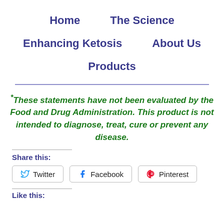Home    The Science    Enhancing Ketosis    About Us    Products
*These statements have not been evaluated by the Food and Drug Administration. This product is not intended to diagnose, treat, cure or prevent any disease.
Share this:
Twitter  Facebook  Pinterest
Like this: